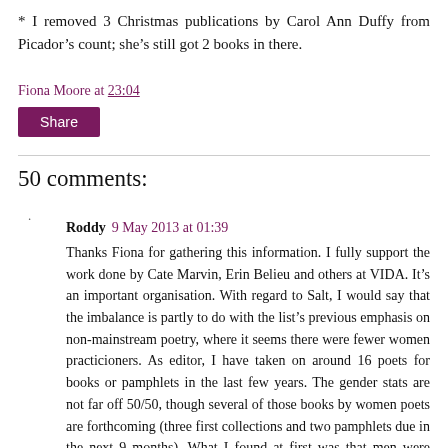* I removed 3 Christmas publications by Carol Ann Duffy from Picador’s count; she’s still got 2 books in there.
Fiona Moore at 23:04
Share
50 comments:
Roddy 9 May 2013 at 01:39
Thanks Fiona for gathering this information. I fully support the work done by Cate Marvin, Erin Belieu and others at VIDA. It’s an important organisation. With regard to Salt, I would say that the imbalance is partly to do with the list’s previous emphasis on non-mainstream poetry, where it seems there were fewer women practicioners. As editor, I have taken on around 16 poets for books or pamphlets in the last few years. The gender stats are not far off 50/50, though several of those books by women poets are forthcoming (three first collections and two pamphlets due in the next 9 months). What I found at first was that men were saying